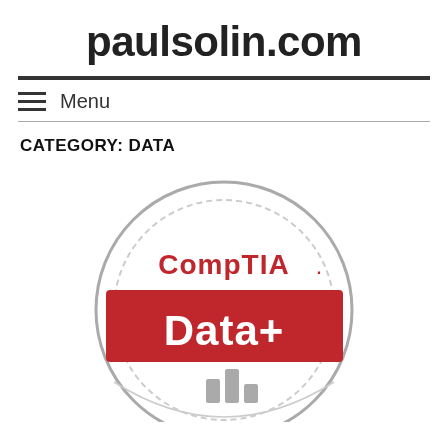paulsolin.com
Menu
CATEGORY: DATA
[Figure (logo): CompTIA Data+ certification badge logo. A circular badge outline in gray with 'CompTIA.' text in red at the top, a red rectangular banner in the middle with white bold text reading 'Data+', and a bar chart icon at the bottom inside the circle.]